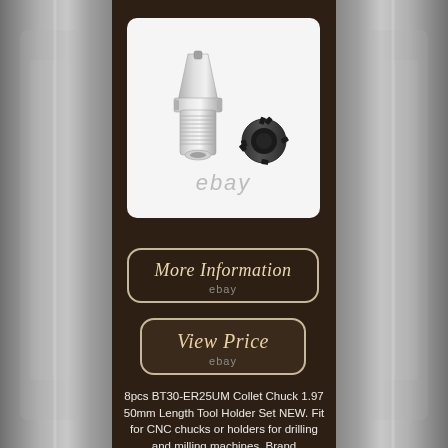[Figure (photo): Product photo of BT30-ER25UM Collet Chuck tool holder (main body) and ER25 collet nut, on white background with ebay watermark]
[Figure (other): More Information button with ebay label, dark brown rounded rectangle with tan border]
[Figure (other): View Price button with ebay label, dark brown rounded rectangle with tan border]
8pcs BT30-ER25UM Collet Chuck 1.97 50mm Length Tool Holder Set NEW. Fit for CNC chucks or holders for drilling and milling machines. Brand